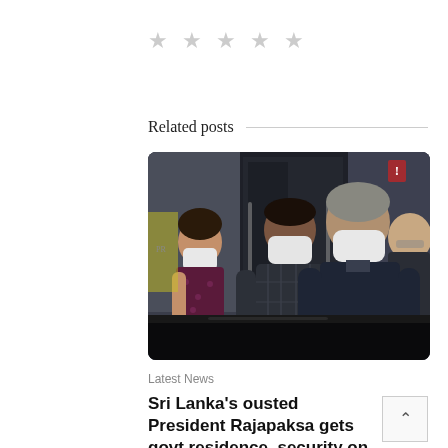[Figure (other): Five grey star rating icons in a row]
Related posts
[Figure (photo): Photograph of people wearing white face masks walking outdoors near a vehicle. Three people are visible prominently — a woman in a dark floral dress on the left, a man in a dark jacket in the center, and an older man in a dark jacket on the right. A fourth person is partially visible on the far right. Background shows glass doors of a building.]
Latest News
Sri Lanka's ousted President Rajapaksa gets govt residence, security on return: officials